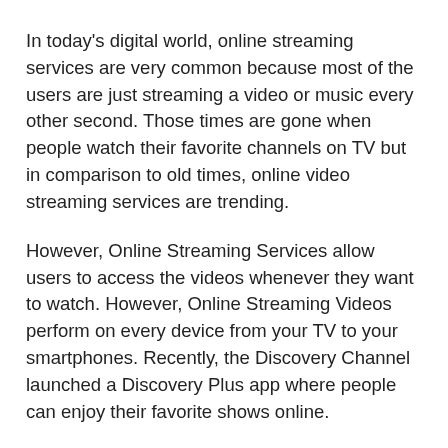In today's digital world, online streaming services are very common because most of the users are just streaming a video or music every other second. Those times are gone when people watch their favorite channels on TV but in comparison to old times, online video streaming services are trending.
However, Online Streaming Services allow users to access the videos whenever they want to watch. However, Online Streaming Videos perform on every device from your TV to your smartphones. Recently, the Discovery Channel launched a Discovery Plus app where people can enjoy their favorite shows online.
With the success of the on-demand Discovery Plus app, the owners want to develop an on-demand video streaming app and wondering about How much does it